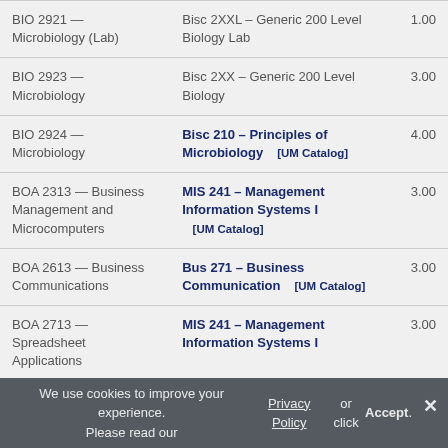| Course | Equivalent | Credits |
| --- | --- | --- |
| BIO 2921 — Microbiology (Lab) | Bisc 2XXL – Generic 200 Level Biology Lab | 1.00 |
| BIO 2923 — Microbiology | Bisc 2XX – Generic 200 Level Biology | 3.00 |
| BIO 2924 — Microbiology | Bisc 210 – Principles of Microbiology  [UM Catalog] | 4.00 |
| BOA 2313 — Business Management and Microcomputers | MIS 241 – Management Information Systems I  [UM Catalog] | 3.00 |
| BOA 2613 — Business Communications | Bus 271 – Business Communication  [UM Catalog] | 3.00 |
| BOA 2713 — Spreadsheet Applications | MIS 241 – Management Information Systems I | 3.00 |
We use cookies to improve your experience. Please read our Privacy Policy or click Accept.